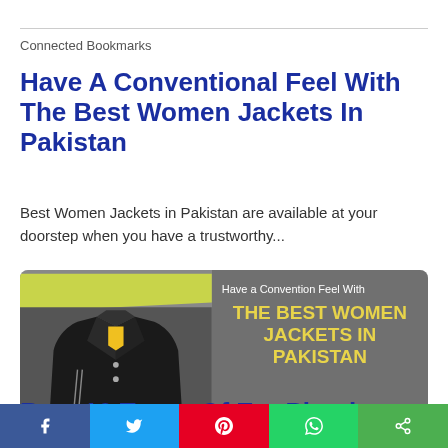Connected Bookmarks
Have A Conventional Feel With The Best Women Jackets In Pakistan
Best Women Jackets in Pakistan are available at your doorstep when you have a trustworthy...
[Figure (photo): Promotional image of a black leather women's jacket on the left with a gray background on the right displaying text 'Have a Convention Feel With THE BEST WOMEN JACKETS IN PAKISTAN' in yellow bold letters]
Best 10 Types Of Ear Piercings